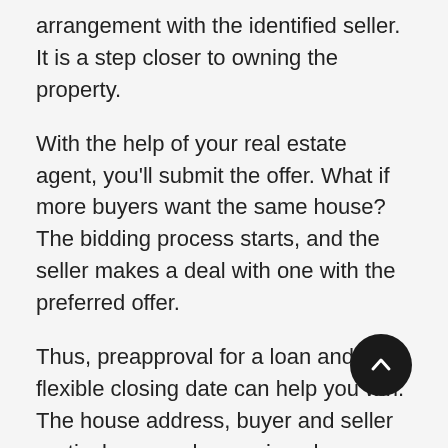arrangement with the identified seller. It is a step closer to owning the property.
With the help of your real estate agent, you'll submit the offer. What if more buyers want the same house? The bidding process starts, and the seller makes a deal with one with the preferred offer.
Thus, preapproval for a loan and a flexible closing date can help you win. The house address, buyer and seller particulars, purchase price, down payment, lender particulars, furniture or other items to be left, and closing date are included in the purchase agreement.
Once you agree on the purchase price, the house